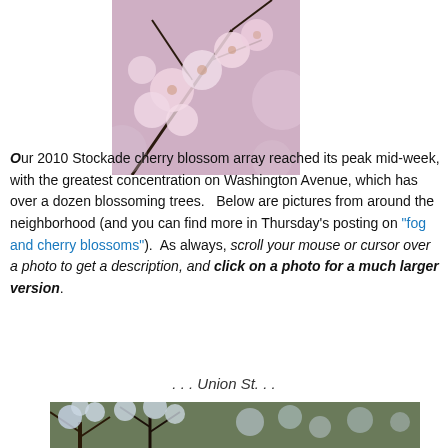[Figure (photo): Close-up photo of pink cherry blossoms on branches against a soft pink background]
Our 2010 Stockade cherry blossom array reached its peak mid-week, with the greatest concentration on Washington Avenue, which has over a dozen blossoming trees.   Below are pictures from around the neighborhood (and you can find more in Thursday's posting on “fog and cherry blossoms”).  As always, scroll your mouse or cursor over a photo to get a description, and click on a photo for a much larger version.
. . . Union St. . .
[Figure (photo): Photo of cherry blossom trees along a street in the neighborhood]